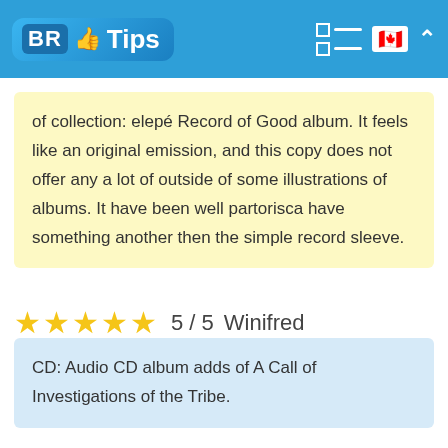BR Tips
of collection: elepé Record of Good album. It feels like an original emission, and this copy does not offer any a lot of outside of some illustrations of albums. It have been well partorisca have something another then the simple record sleeve.
5 / 5  Winifred
CD: Audio CD album adds of A Call of Investigations of the Tribe.